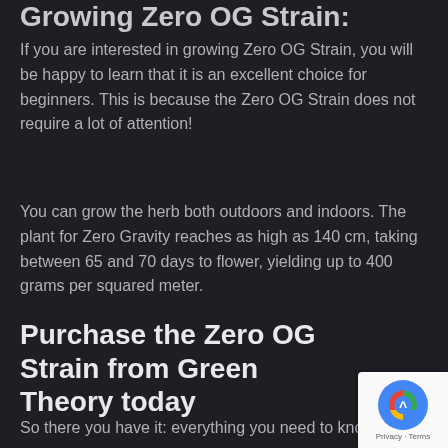Growing Zero OG Strain:
If you are interested in growing Zero OG Strain, you will be happy to learn that it is an excellent choice for beginners. This is because the Zero OG Strain does not require a lot of attention!
You can grow the herb both outdoors and indoors. The plant for Zero Gravity reaches as high as 140 cm, taking between 65 and 70 days to flower, yielding up to 400 grams per squared meter.
Purchase the Zero OG Strain from Green Theory today
So there you have it: everything you need to know about